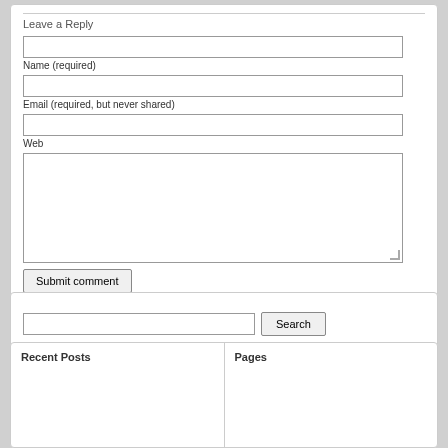Leave a Reply
Name (required)
Email (required, but never shared)
Web
Submit comment
Search
Recent Posts
Pages